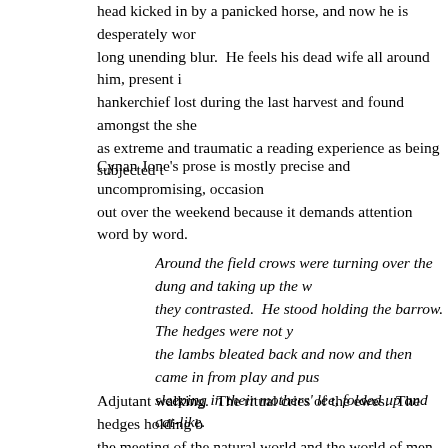head kicked in by a panicked horse, and now he is desperately working a long unending blur. He feels his dead wife all around him, present in a hankerchief lost during the last harvest and found amongst the sheep, as extreme and traumatic a reading experience as being subjected t
Cynan Jone's prose is mostly precise and uncompromising, occasion out over the weekend because it demands attention word by word.
Around the field crows were turning over the dung and taking up the w they contrasted. He stood holding the barrow. The hedges were not y the lambs bleated back and now and then came in from play and pus sleeping in their mothers' lee, folded up and cat-like.
Adjutant walking. The ritual cries of the ewes. The hedges holding b the meeting of the natural world and the world of men as a mystical
Nowhere is this more evident than in the novels' extraordinary setpi story in Granta magazine and shortlisted for the Sunday Times EFG S catching a badger in its sett, using small fierce terriers to corner it ins man and his teenage son to help him catch a huge boar, whom he in point of view it unpicks a destructive culture of masculinity, and the w to spend a day with his distant and probably abusive father, feeling w against the badger. He associates the satisfaction he feels at the att thing they are doing.
What the boy cannot see, does not yet know, is that behind the bruta